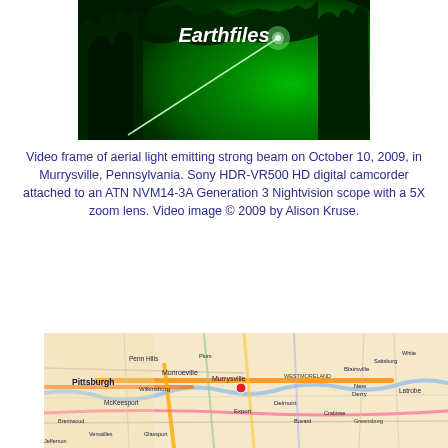[Figure (photo): Night-vision video frame showing green glowing aerial light emitting a strong diagonal beam against dark tree silhouettes. White text 'Earthfiles' overlaid on the image.]
Video frame of aerial light emitting strong beam on October 10, 2009, in Murrysville, Pennsylvania. Sony HDR-VR500 HD digital camcorder attached to an ATN NVM14-3A Generation 3 Nightvision scope with a 5X zoom lens. Video image © 2009 by Alison Kruse.
[Figure (map): Road map showing the Pittsburgh, Pennsylvania area including Murrysville (marked with a red dot), Monroeville, McKeesport, Penn Hills, Westmoreland, and surrounding areas with highways and road networks.]